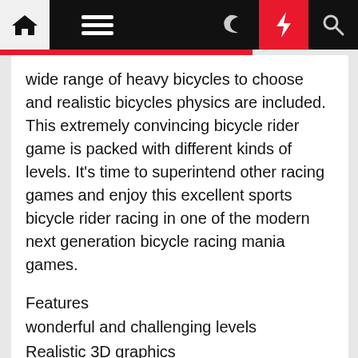[Navigation bar with home, menu, moon, bolt, search icons]
wide range of heavy bicycles to choose and realistic bicycles physics are included. This extremely convincing bicycle rider game is packed with different kinds of levels. It's time to superintend other racing games and enjoy this excellent sports bicycle rider racing in one of the modern next generation bicycle racing mania games.
Features
wonderful and challenging levels
Realistic 3D graphics
High Quality music ride on bicycle
Stunning physics
Good control and turn easily
Source Article